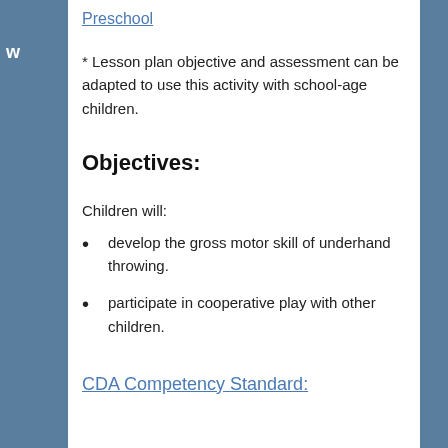Preschool
* Lesson plan objective and assessment can be adapted to use this activity with school-age children.
Objectives:
Children will:
develop the gross motor skill of underhand throwing.
participate in cooperative play with other children.
CDA Competency Standard: